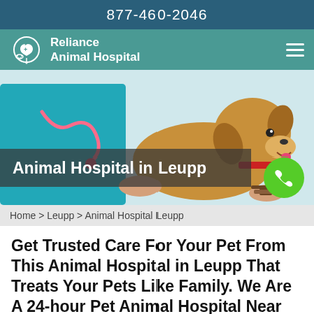877-460-2046
[Figure (logo): Reliance Animal Hospital logo with pet icon inside a heart]
[Figure (photo): A golden/brown dog with a red collar being examined by a veterinarian in teal scrubs with a stethoscope. A phone call button (green circle with phone icon) is overlaid in the lower right. Text overlay reads 'Animal Hospital in Leupp'.]
Home > Leupp > Animal Hospital Leupp
Get Trusted Care For Your Pet From This Animal Hospital in Leupp That Treats Your Pets Like Family. We Are A 24-hour Pet Animal Hospital Near You We